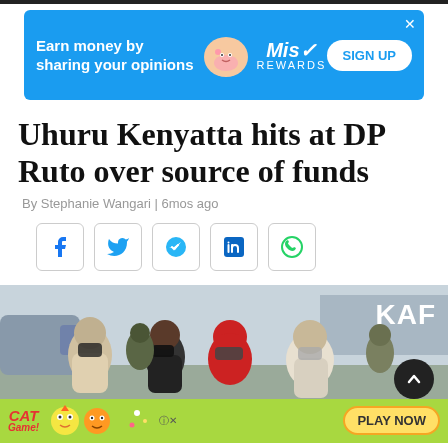[Figure (other): Advertisement banner: blue background with text 'Earn money by sharing your opinions', Miso Rewards branding with mascot, and SIGN UP button]
Uhuru Kenyatta hits at DP Ruto over source of funds
By Stephanie Wangari | 6mos ago
[Figure (other): Social media share icons: Facebook, Twitter, Telegram, LinkedIn, WhatsApp]
[Figure (photo): Photo of people in masks near a KAF aircraft, with a Cat Game advertisement overlay at the bottom]
[Figure (other): Cat Game advertisement with 'PLAY NOW' button on green background]